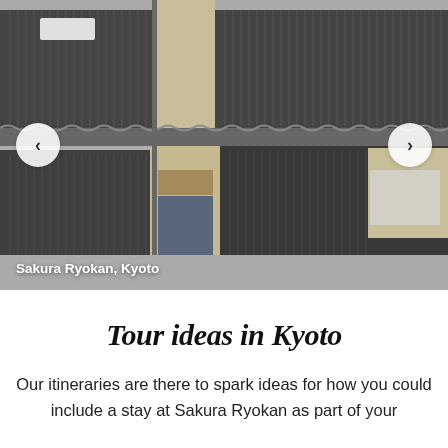[Figure (photo): Exterior photo of Sakura Ryokan in Kyoto — a traditional Japanese townhouse building with dark wooden slatted facades, beige plaster panels, and a tiled roof. Navigation arrows (left/right) are visible on either side. A caption at the bottom-left reads 'Sakura Ryokan, Kyoto'.]
Sakura Ryokan, Kyoto
Tour ideas in Kyoto
Our itineraries are there to spark ideas for how you could include a stay at Sakura Ryokan as part of your